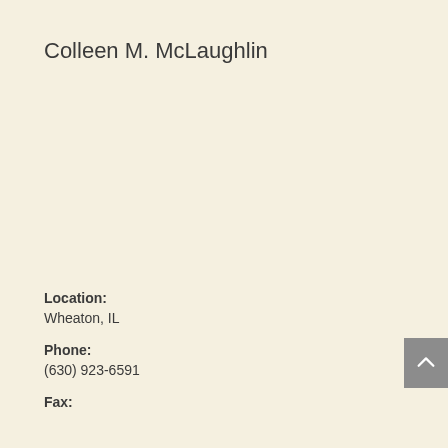Colleen M. McLaughlin
Location:
Wheaton, IL
Phone:
(630) 923-6591
Fax: